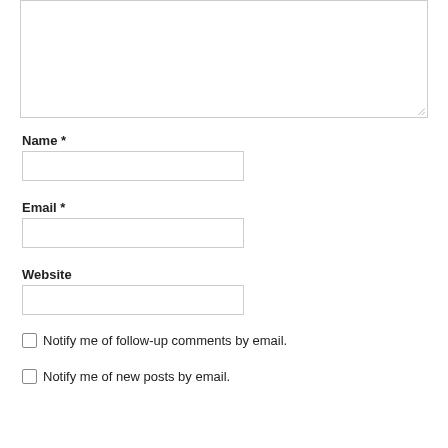[Figure (screenshot): Textarea input box (empty, with resize handle in bottom right corner)]
Name *
[Figure (screenshot): Text input field for Name]
Email *
[Figure (screenshot): Text input field for Email]
Website
[Figure (screenshot): Text input field for Website]
Notify me of follow-up comments by email.
Notify me of new posts by email.